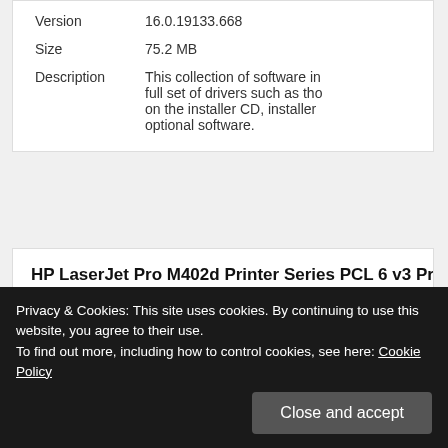| Version | 16.0.19133.668 |
| Size | 75.2 MB |
| Description | This collection of software in full set of drivers such as those on the installer CD, installer optional software. |
HP LaserJet Pro M402d Printer Series PCL 6 v3 Pr
| Release date | Apr 20, 2020 |
| Compatibility | Windows Vista (32-bit/64-bit... |
Privacy & Cookies: This site uses cookies. By continuing to use this website, you agree to their use. To find out more, including how to control cookies, see here: Cookie Policy
Close and accept